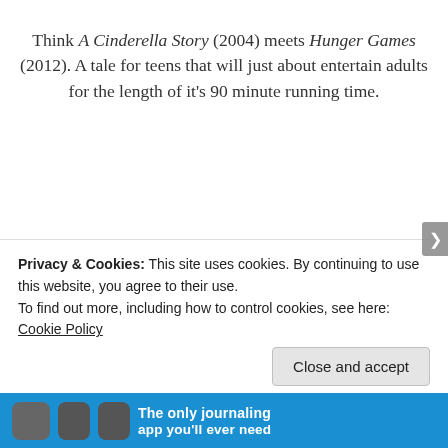Think A Cinderella Story (2004) meets Hunger Games (2012). A tale for teens that will just about entertain adults for the length of it's 90 minute running time.
[Figure (other): 5-star rating display showing 3 gold stars and 2 silver/empty stars]
Privacy & Cookies: This site uses cookies. By continuing to use this website, you agree to their use.
To find out more, including how to control cookies, see here: Cookie Policy
Close and accept
The only journaling app you'll ever need